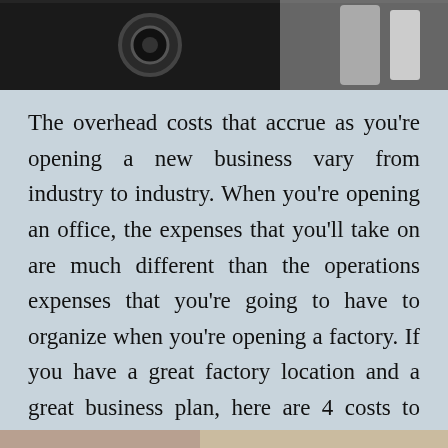[Figure (photo): Dark industrial/factory image at the top of the page, showing dark machinery on the left and lighter elements on the right]
The overhead costs that accrue as you're opening a new business vary from industry to industry. When you're opening an office, the expenses that you'll take on are much different than the operations expenses that you're going to have to organize when you're opening a factory. If you have a great factory location and a great business plan, here are 4 costs to consider so that you can make sure all of your factory burdens are addressed:
[Figure (photo): Bottom partial photo, appears to be another factory/industrial image]